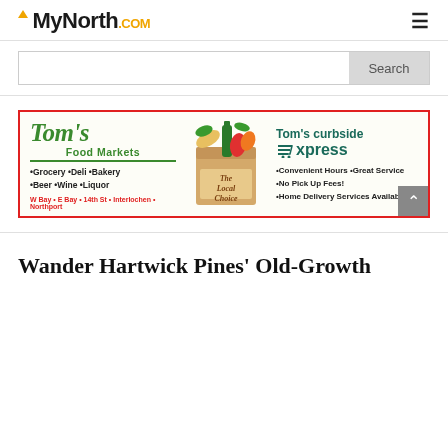MyNorth.COM
[Figure (screenshot): Search bar with Search button]
[Figure (infographic): Tom's Food Markets advertisement banner with curbside express information. Left: Tom's Food Markets logo with Grocery, Deli, Bakery, Beer, Wine, Liquor and W Bay, E Bay, 14th St, Interlochen, Northport locations. Middle: grocery bag illustration with 'The Local Choice'. Right: Tom's curbside Express with Convenient Hours, Great Service, No Pick Up Fees!, Home Delivery Services Available.]
Wander Hartwick Pines' Old-Growth